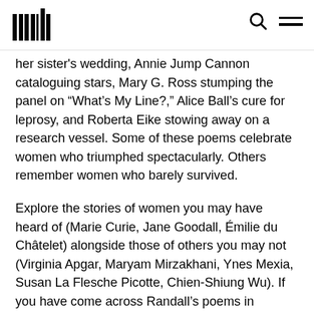[Logo] [Search icon] [Menu icon]
her sister's wedding, Annie Jump Cannon cataloguing stars, Mary G. Ross stumping the panel on “What’s My Line?,” Alice Ball’s cure for leprosy, and Roberta Eike stowing away on a research vessel. Some of these poems celebrate women who triumphed spectacularly. Others remember women who barely survived.
Explore the stories of women you may have heard of (Marie Curie, Jane Goodall, Émilie du Châtelet) alongside those of others you may not (Virginia Apgar, Maryam Mirzakhani, Ynes Mexia, Susan La Flesche Picotte, Chien-Shiung Wu). If you have come across Randall’s poems in Scientific American, Analog, or Asimov’s you will have